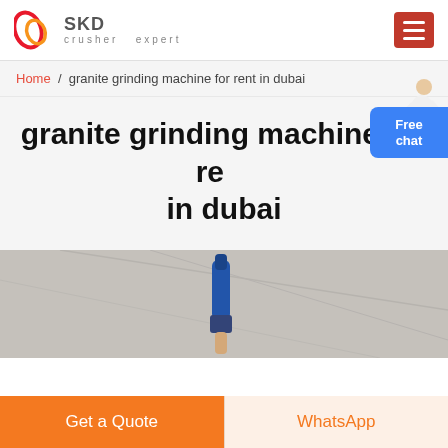SKD crusher expert
Home / granite grinding machine for rent in dubai
granite grinding machine for rent in dubai
[Figure (photo): Close-up photo of a grinding/drilling tool held up toward a ceiling, showing the tool attachment and ceiling structure in background]
Get a Quote
WhatsApp